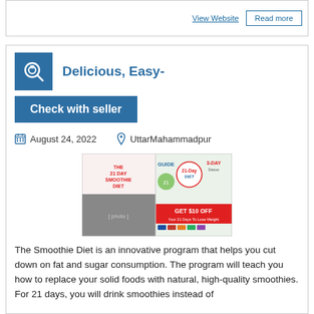View Website   Read more
Delicious, Easy-
Check with seller
August 24, 2022   UttarMahammadpur
[Figure (photo): The 21 Day Smoothie Diet promotional image with guide, diet book, 3-day detox, and GET $10 OFF banner]
The Smoothie Diet is an innovative program that helps you cut down on fat and sugar consumption. The program will teach you how to replace your solid foods with natural, high-quality smoothies. For 21 days, you will drink smoothies instead of